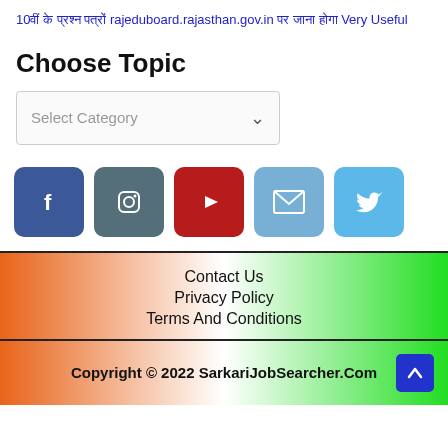10वीं के प्रश्न पत्रों rajeduboard.rajasthan.gov.in पर जाना होगा Very Useful
Choose Topic
[Figure (screenshot): Dropdown select box with placeholder text 'Select Category' and a down arrow]
[Figure (infographic): Row of 5 social media icon buttons: Facebook (dark blue), Instagram (steel blue), YouTube (red), Email (light blue), Twitter (light blue)]
Contact Us
Privacy Policy
Terms And Conditions
Copyright © 2022 SarkariJobSearcher.Com